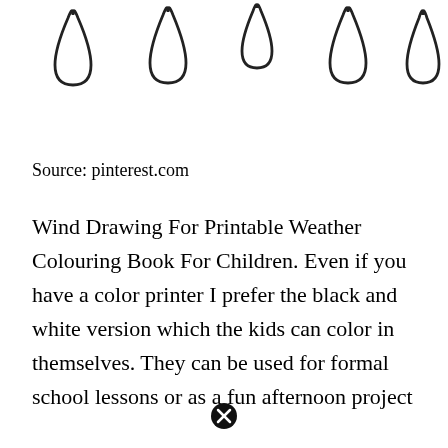[Figure (illustration): Five outline drawings of water droplets/raindrops in a row, varying slightly in size, on a white background. They are simple black outlines, unfilled, suitable for a coloring book.]
Source: pinterest.com
Wind Drawing For Printable Weather Colouring Book For Children. Even if you have a color printer I prefer the black and white version which the kids can color in themselves. They can be used for formal school lessons or as a fun afternoon project